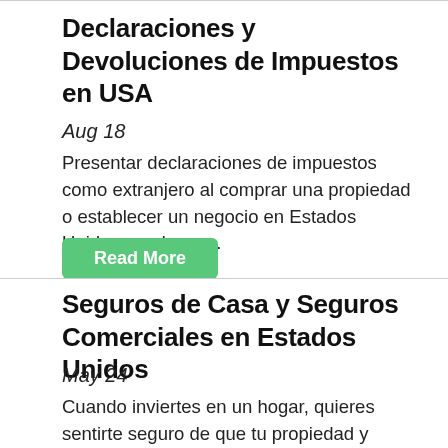Declaraciones y Devoluciones de Impuestos en USA
Aug 18
Presentar declaraciones de impuestos como extranjero al comprar una propiedad o establecer un negocio en Estados Unidos puede ser...
Read More
Seguros de Casa y Seguros Comerciales en Estados Unidos
May 24
Cuando inviertes en un hogar, quieres sentirte seguro de que tu propiedad y dinero invertido estén cubiertos. Sobre